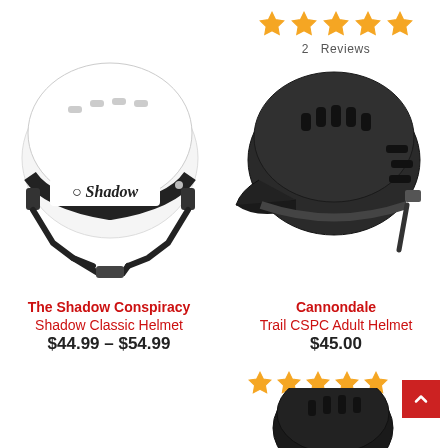[Figure (photo): 5 orange star rating icons in top right area]
2 Reviews
[Figure (photo): White Shadow branded BMX/skate helmet facing right]
[Figure (photo): Black Cannondale Trail mountain bike helmet facing left]
The Shadow Conspiracy
Shadow Classic Helmet
$44.99 – $54.99
Cannondale
Trail CSPC Adult Helmet
$45.00
[Figure (photo): 5 orange star rating icons below Cannondale price]
2 Reviews
[Figure (photo): Partial view of a dark/black helmet peeking from the bottom right]